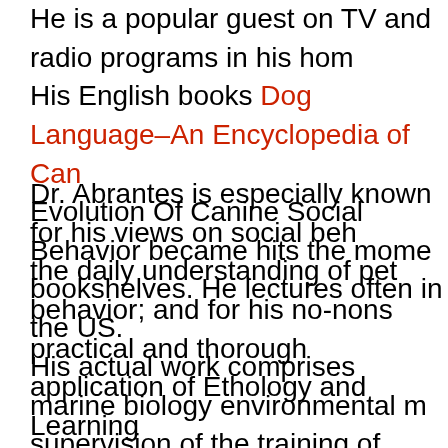He is a popular guest on TV and radio programs in his home. His English books Dog Language–An Encyclopedia of Canine... Evolution Of Canine Social Behavior became hits the moment... bookshelves. He lectures often in the US.
Dr. Abrantes is especially known for his views on social behavior, the daily understanding of pet behavior; and for his no-nonsense practical and thorough application of Ethology and Learning... animal the new patterns patiently and efficiently step by step.
His actual work comprises marine biology environmental management, supervision of the training of landmine-detecting rats in Tanzania, work for the canine company of the GNR.
Roger Abrantes is truly a citizen of the world. If you ask him he will answer you 'Planet Earth' and there's something about it. He lives on an island, which name he refuses to reveal, in the south of Thailand. He speaks languages, English, Portuguese, French, Danish, and Swedish fluently, Italian, German, and Thai (less fluently).
He is also a keen sportsman, having raced cars for many years, played roller hockey in the German Bundesliga where he was his...